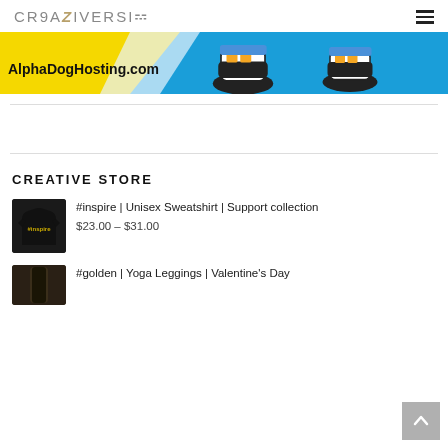CREATIVERSIS (logo) + hamburger menu
[Figure (illustration): AlphaDogHosting.com banner advertisement with blue and yellow background, cartoon sneakers/shoes, and text 'AlphaDogHosting.com' in black]
CREATIVE STORE
[Figure (photo): Black sweatshirt with gold text '#inspire']
#inspire | Unisex Sweatshirt | Support collection
$23.00 – $31.00
[Figure (photo): Yoga leggings product thumbnail]
#golden | Yoga Leggings | Valentine's Day